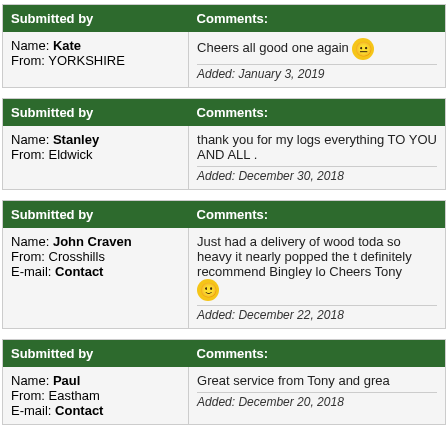| Submitted by | Comments: |
| --- | --- |
| Name: Kate
From: YORKSHIRE | Cheers all good one again 😐
Added: January 3, 2019 |
| Submitted by | Comments: |
| --- | --- |
| Name: Stanley
From: Eldwick | thank you for my logs everything TO YOU AND ALL .
Added: December 30, 2018 |
| Submitted by | Comments: |
| --- | --- |
| Name: John Craven
From: Crosshills
E-mail: Contact | Just had a delivery of wood toda so heavy it nearly popped the t definitely recommend Bingley lo Cheers Tony 😊
Added: December 22, 2018 |
| Submitted by | Comments: |
| --- | --- |
| Name: Paul
From: Eastham
E-mail: Contact | Great service from Tony and grea
Added: December 20, 2018 |